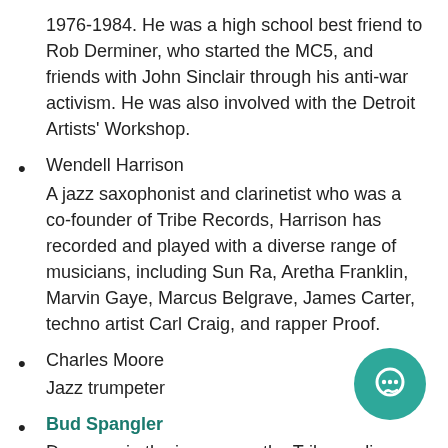1976-1984. He was a high school best friend to Rob Derminer, who started the MC5, and friends with John Sinclair through his anti-war activism. He was also involved with the Detroit Artists' Workshop.
Wendell Harrison
A jazz saxophonist and clarinetist who was a co-founder of Tribe Records, Harrison has recorded and played with a diverse range of musicians, including Sun Ra, Aretha Franklin, Marvin Gaye, Marcus Belgrave, James Carter, techno artist Carl Craig, and rapper Proof.
Charles Moore
Jazz trumpeter
Bud Spangler
Drummer in the jazz group the Tribe, radio on-air personality, producer and program director, w... WDET
Peter Werbe